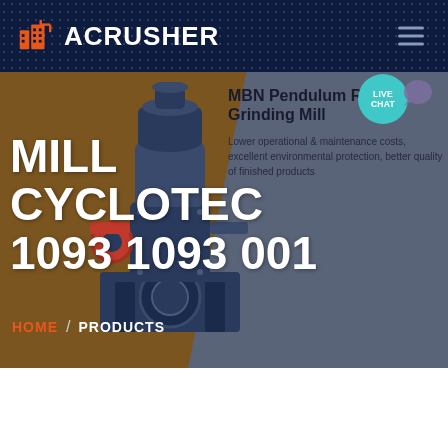ACRUSHER
MILL CYCLOTEC 1093 1093 001
[Figure (screenshot): ACRUSHER website screenshot showing a mill machine product page with navigation bar, hero image of industrial grinding machine, product title 'MILL CYCLOTEC 1093 1093 001', and product info for MBN Pendulum Roller Grinding Mill]
MBN Pendulum Roller Grinding Mill
Lower operational & maintenance costs, excellent environmental protection, better quality of finished products
HOME / PRODUCTS